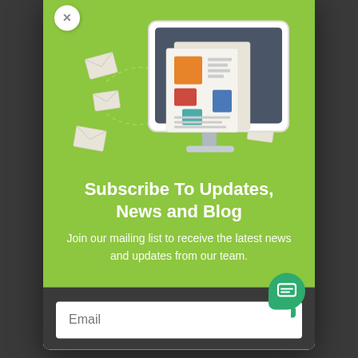[Figure (illustration): Newsletter subscription popup modal with green header containing an illustration of a computer monitor displaying newspaper/documents with envelope icons flying around it connected by dashed lines]
Subscribe To Updates, News and Blog
Join our mailing list to receive the latest news and updates from our team.
[Figure (other): Email input field with placeholder text 'Email' and a green chat bubble icon in the bottom right]
Email